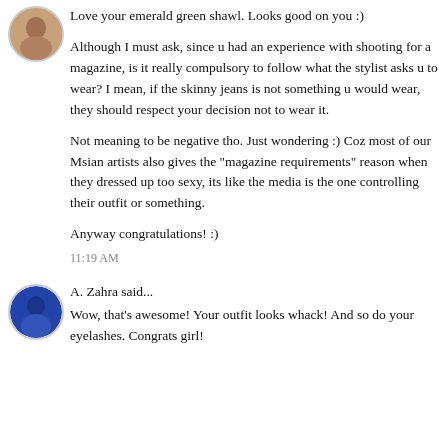[Figure (photo): Circular avatar photo of a person (top comment author), partially visible at top of page]
Love your emerald green shawl. Looks good on you :)

Although I must ask, since u had an experience with shooting for a magazine, is it really compulsory to follow what the stylist asks u to wear? I mean, if the skinny jeans is not something u would wear, they should respect your decision not to wear it.

Not meaning to be negative tho. Just wondering :) Coz most of our Msian artists also gives the "magazine requirements" reason when they dressed up too sexy, its like the media is the one controlling their outfit or something.

Anyway congratulations! :)
11:19 AM
[Figure (photo): Circular avatar photo of A. Zahra, blue-toned image]
A. Zahra said...
Wow, that's awesome! Your outfit looks whack! And so do your eyelashes. Congrats girl!